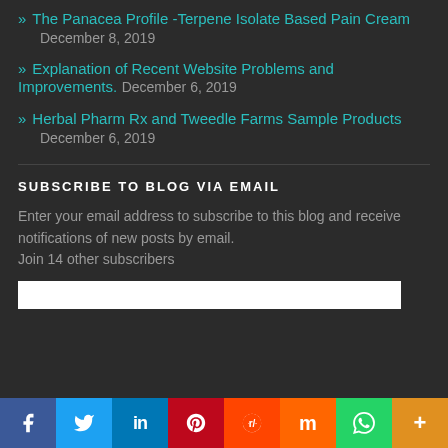» The Panacea Profile -Terpene Isolate Based Pain Cream
December 8, 2019
» Explanation of Recent Website Problems and Improvements.  December 6, 2019
» Herbal Pharm Rx and Tweedle Farms Sample Products
December 6, 2019
SUBSCRIBE TO BLOG VIA EMAIL
Enter your email address to subscribe to this blog and receive notifications of new posts by email.
Join 14 other subscribers
[Figure (infographic): Social sharing bar with icons for Facebook, Twitter, LinkedIn, Pinterest, Reddit, Mix, WhatsApp, and More (+)]